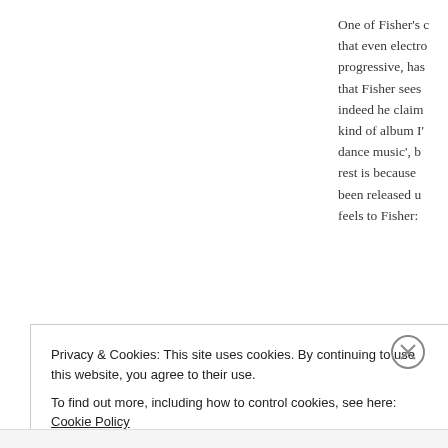One of Fisher's c that even electro progressive, has that Fisher sees indeed he claim kind of album I' dance music', b rest is because been released u feels to Fisher:
listening to do e l
Privacy & Cookies: This site uses cookies. By continuing to use this website, you agree to their use.
To find out more, including how to control cookies, see here: Cookie Policy
Close and accept